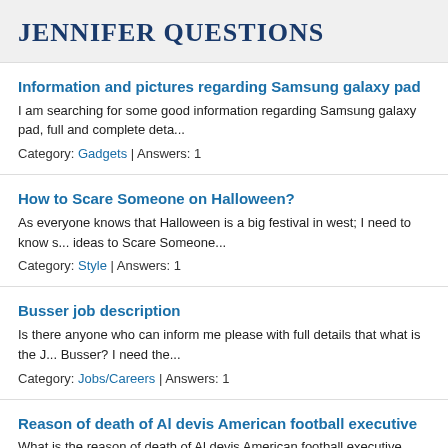JENNIFER QUESTIONS
Information and pictures regarding Samsung galaxy pad
I am searching for some good information regarding Samsung galaxy pad, full and complete deta...
Category: Gadgets | Answers: 1
How to Scare Someone on Halloween?
As everyone knows that Halloween is a big festival in west; I need to know some ideas to Scare Someone...
Category: Style | Answers: 1
Busser job description
Is there anyone who can inform me please with full details that what is the J... Busser? I need the...
Category: Jobs/Careers | Answers: 1
Reason of death of Al devis American football executive
What is the reason of death of Al devis American football executive. Please... Answers: 1
Al devis American football executive died
I am sorchinhg for the details regarding the death of American football exe...